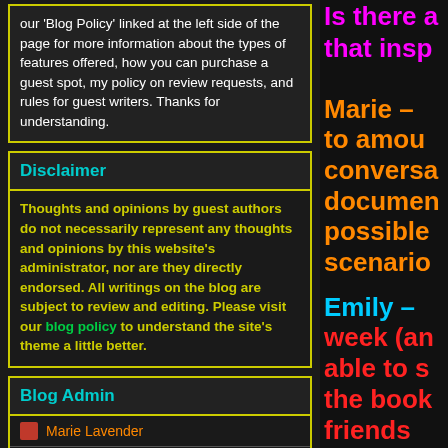our 'Blog Policy' linked at the left side of the page for more information about the types of features offered, how you can purchase a guest spot, my policy on review requests, and rules for guest writers. Thanks for understanding.
Disclaimer
Thoughts and opinions by guest authors do not necessarily represent any thoughts and opinions by this website's administrator, nor are they directly endorsed. All writings on the blog are subject to review and editing. Please visit our blog policy to understand the site's theme a little better.
Blog Admin
Marie Lavender
Marie Lavender
Is there a
that insp
Marie – to amou conversa documen possible scenario
Emily – week (an able to s the book friends